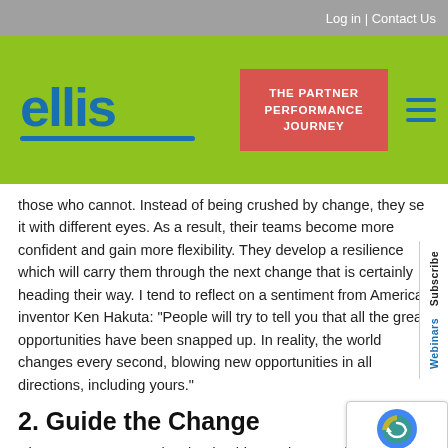Log in | Contact Us
[Figure (logo): Ellis company logo with blue text and blue underline on green background, with red 'THE PARTNER PERFORMANCE JOURNEY' button and blue hamburger menu icon]
those who cannot. Instead of being crushed by change, they see it with different eyes. As a result, their teams become more confident and gain more flexibility. They develop a resilience which will carry them through the next change that is certainly heading their way. I tend to reflect on a sentiment from American inventor Ken Hakuta: "People will try to tell you that all the great opportunities have been snapped up. In reality, the world changes every second, blowing new opportunities in all directions, including yours."
2. Guide the Change
Change management is a leadership requirement that plays into